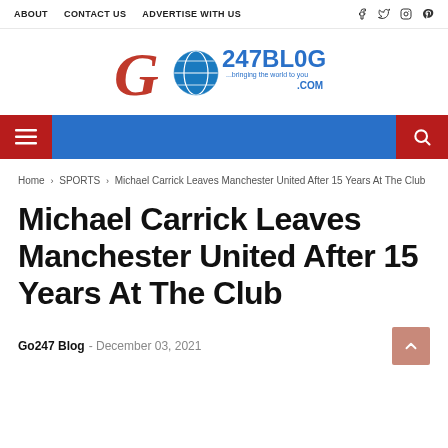ABOUT  CONTACT US  ADVERTISE WITH US  [social icons]
[Figure (logo): Go247Blog.com logo with red G, globe icon, blue 247BLOG text and tagline]
[hamburger menu] [blue nav bar] [search icon]
Home > SPORTS > Michael Carrick Leaves Manchester United After 15 Years At The Club
Michael Carrick Leaves Manchester United After 15 Years At The Club
Go247 Blog - December 03, 2021